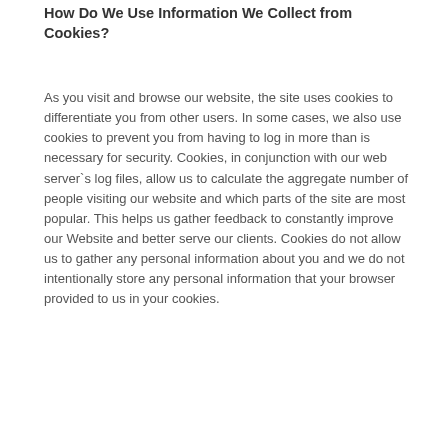How Do We Use Information We Collect from Cookies?
As you visit and browse our website, the site uses cookies to differentiate you from other users. In some cases, we also use cookies to prevent you from having to log in more than is necessary for security. Cookies, in conjunction with our web server`s log files, allow us to calculate the aggregate number of people visiting our website and which parts of the site are most popular. This helps us gather feedback to constantly improve our Website and better serve our clients. Cookies do not allow us to gather any personal information about you and we do not intentionally store any personal information that your browser provided to us in your cookies.